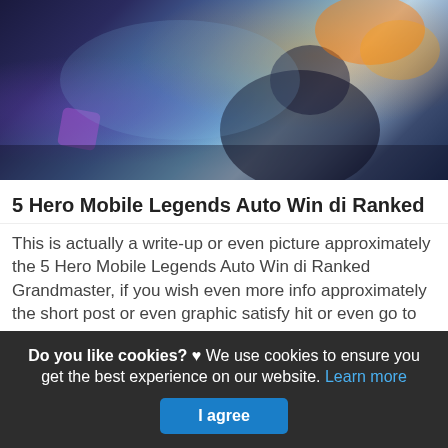[Figure (screenshot): Mobile Legends game screenshot showing a character in action with colorful fantasy background]
5 Hero Mobile Legends Auto Win di Ranked
This is actually a write-up or even picture approximately the 5 Hero Mobile Legends Auto Win di Ranked Grandmaster, if you wish even more info approximately the short post or even graphic satisfy hit or even go to the adhering to web link or even web link . (Read More)
Source: dailyspin.id
Do you like cookies? ♥ We use cookies to ensure you get the best experience on our website. Learn more
I agree